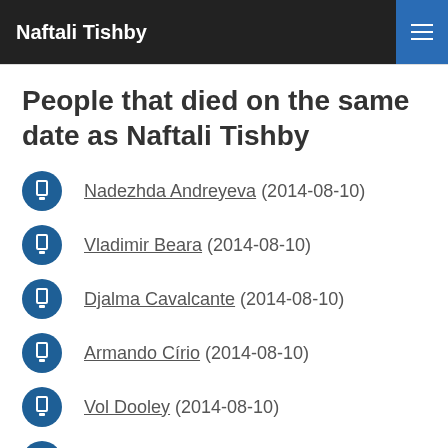Naftali Tishby
People that died on the same date as Naftali Tishby
Nadezhda Andreyeva (2014-08-10)
Vladimir Beara (2014-08-10)
Djalma Cavalcante (2014-08-10)
Armando Círio (2014-08-10)
Vol Dooley (2014-08-10)
Raymond Gravel (2014-08-10)
(partial, cut off)